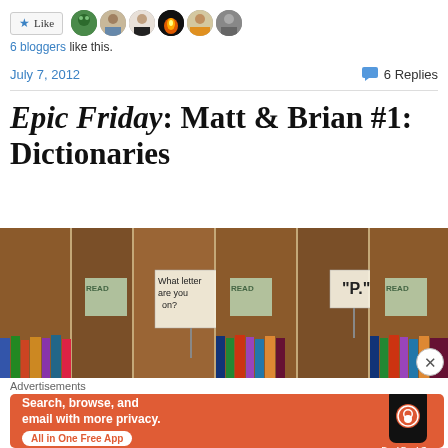[Figure (screenshot): Like button with star icon and 6 blogger avatar photos]
6 bloggers like this.
July 7, 2012   6 Replies
Epic Friday: Matt & Brian #1: Dictionaries
[Figure (illustration): Bookshelf scene with large book figures and signs reading 'What letter are you on?' and 'P.' with READ posters]
Advertisements
[Figure (screenshot): DuckDuckGo advertisement banner: Search, browse, and email with more privacy. All in One Free App]